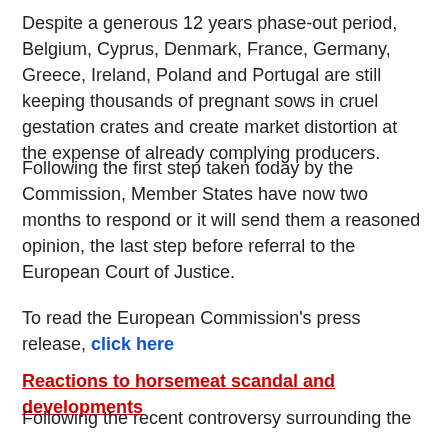Despite a generous 12 years phase-out period, Belgium, Cyprus, Denmark, France, Germany, Greece, Ireland, Poland and Portugal are still keeping thousands of pregnant sows in cruel gestation crates and create market distortion at the expense of already complying producers.
Following the first step taken today by the Commission, Member States have now two months to respond or it will send them a reasoned opinion, the last step before referral to the European Court of Justice.
To read the European Commission's press release, click here
Reactions to horsemeat scandal and developments
Following the recent controversy surrounding the